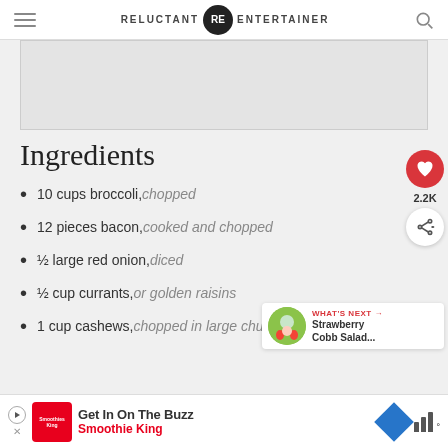RELUCTANT RE ENTERTAINER
[Figure (other): Advertisement banner placeholder (gray rectangle)]
Ingredients
10 cups broccoli, chopped
12 pieces bacon, cooked and chopped
½ large red onion, diced
½ cup currants, or golden raisins
1 cup cashews, chopped in large chu...
Get In On The Buzz Smoothie King